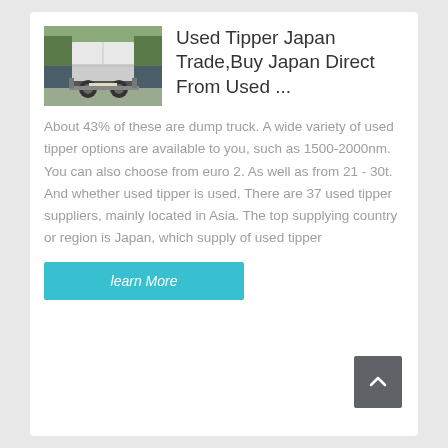[Figure (photo): Rear view of a large dump truck (tipper truck) parked in front of a building]
Used Tipper Japan Trade,Buy Japan Direct From Used ...
About 43% of these are dump truck. A wide variety of used tipper options are available to you, such as 1500-2000nm. You can also choose from euro 2. As well as from 21 - 30t. And whether used tipper is used. There are 37 used tipper suppliers, mainly located in Asia. The top supplying country or region is Japan, which supply of used tipper
learn More